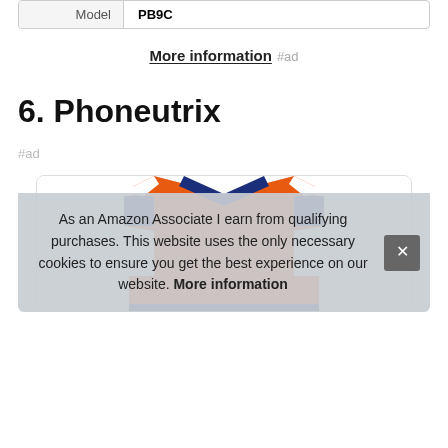| Model | Value |
| --- | --- |
| Model | PB9C |
More information #ad
6. Phoneutrix
#ad
[Figure (photo): Orange and blue sports jersey product image partially visible inside a product card]
As an Amazon Associate I earn from qualifying purchases. This website uses the only necessary cookies to ensure you get the best experience on our website. More information